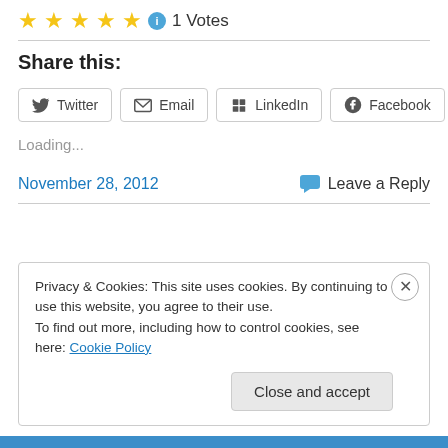★★★★★ ℹ 1 Votes
Share this:
Twitter  Email  LinkedIn  Facebook
Loading...
November 28, 2012
💬 Leave a Reply
Privacy & Cookies: This site uses cookies. By continuing to use this website, you agree to their use.
To find out more, including how to control cookies, see here: Cookie Policy
Close and accept